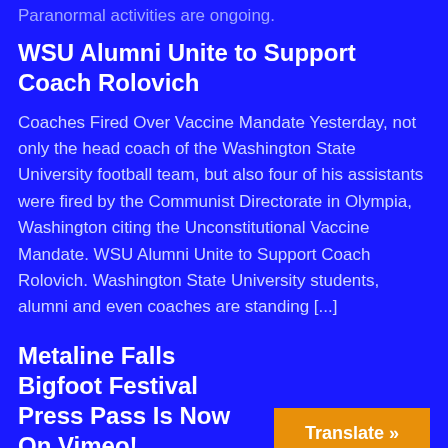Paranormal activities are ongoing.
WSU Alumni Unite to Support Coach Rolovich
Coaches Fired Over Vaccine Mandate Yesterday, not only the head coach of the Washington State University football team, but also four of his assistants were fired by the Communist Directorate in Olympia, Washington citing the Unconstitutional Vaccine Mandate. WSU Alumni Unite to Support Coach Rolovich. Washington State University students, alumni and even coaches are standing [...]
Metaline Falls Bigfoot Festival Press Pass Is Now On Vimeo!
Translate »